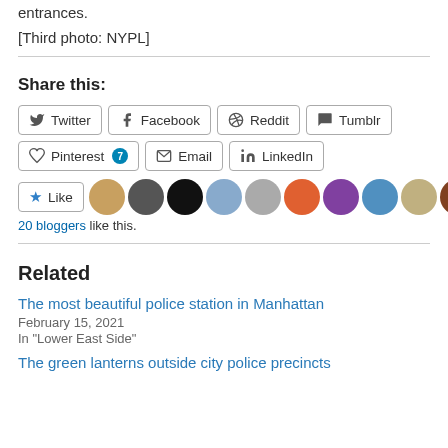entrances.
[Third photo: NYPL]
Share this:
Twitter Facebook Reddit Tumblr Pinterest 7 Email LinkedIn
★ Like  20 bloggers like this.
Related
The most beautiful police station in Manhattan
February 15, 2021
In "Lower East Side"
The green lanterns outside city police precincts